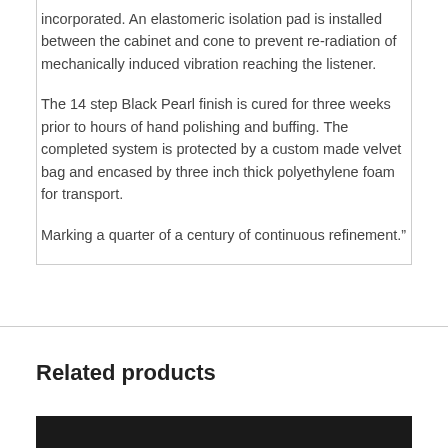incorporated. An elastomeric isolation pad is installed between the cabinet and cone to prevent re-radiation of mechanically induced vibration reaching the listener.
The 14 step Black Pearl finish is cured for three weeks prior to hours of hand polishing and buffing. The completed system is protected by a custom made velvet bag and encased by three inch thick polyethylene foam for transport.
Marking a quarter of a century of continuous refinement.”
Related products